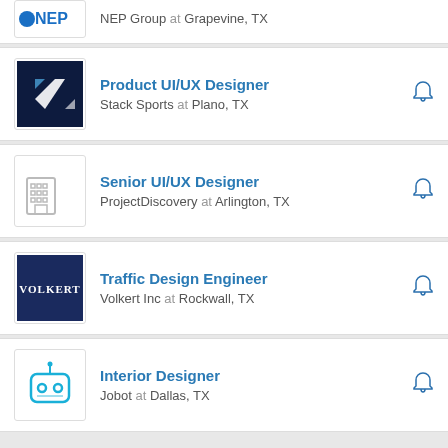NEP Group at Grapevine, TX
Product UI/UX Designer — Stack Sports at Plano, TX
Senior UI/UX Designer — ProjectDiscovery at Arlington, TX
Traffic Design Engineer — Volkert Inc at Rockwall, TX
Interior Designer — Jobot at Dallas, TX
1 2 3 4 5 ... 13